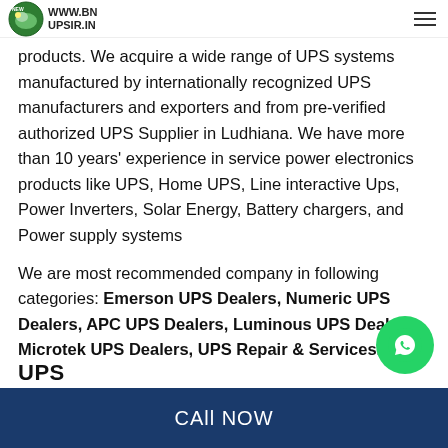www.bnupsir.com (logo and navigation)
products. We acquire a wide range of UPS systems manufactured by internationally recognized UPS manufacturers and exporters and from pre-verified authorized UPS Supplier in Ludhiana. We have more than 10 years' experience in service power electronics products like UPS, Home UPS, Line interactive Ups, Power Inverters, Solar Energy, Battery chargers, and Power supply systems
We are most recommended company in following categories: Emerson UPS Dealers, Numeric UPS Dealers, APC UPS Dealers, Luminous UPS Dealers, Microtek UPS Dealers, UPS Repair & Services.
[Figure (logo): WhatsApp contact button (green circle with phone icon)]
UPS
CAll NOW